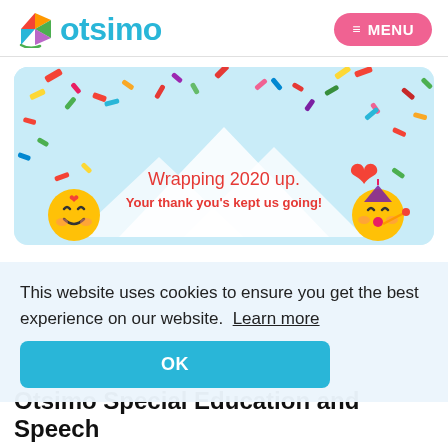otsimo  ≡ MENU
[Figure (illustration): Celebration banner with confetti, mountain/envelope shapes, emoji faces, and text 'Wrapping 2020 up. Your thank you's kept us going!']
This website uses cookies to ensure you get the best experience on our website. Learn more
OK
Otsimo Special Education and Speech